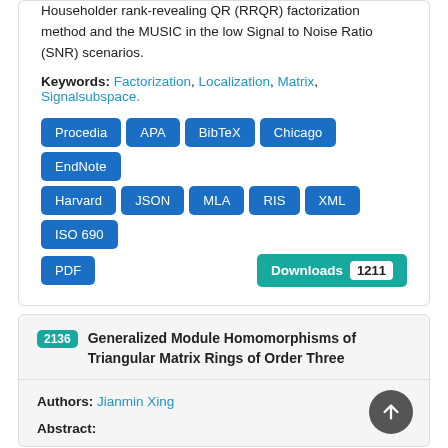Householder rank-revealing QR (RRQR) factorization method and the MUSIC in the low Signal to Noise Ratio (SNR) scenarios.
Keywords: Factorization, Localization, Matrix, Signalsubspace.
[Figure (other): Row of blue citation format buttons: Procedia, APA, BibTeX, Chicago, EndNote, Harvard, JSON, MLA, RIS, XML, ISO 690, PDF. Teal Downloads button with count badge 1211.]
2136 Generalized Module Homomorphisms of Triangular Matrix Rings of Order Three
Authors: Jianmin Xing
Abstract: